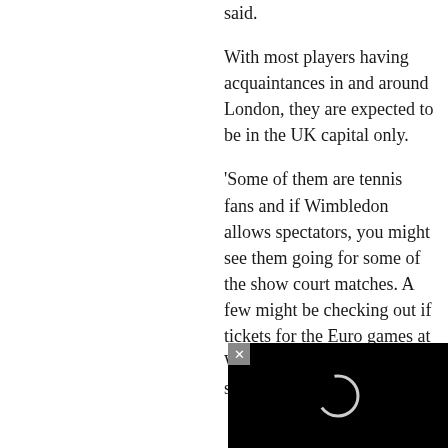said.
With most players having acquaintances in and around London, they are expected to be in the UK capital only.
'Some of them are tennis fans and if Wimbledon allows spectators, you might see them going for some of the show court matches. A few might be checking out if tickets for the Euro games at Wembley are available,' the source said.
[Figure (other): Black video player overlay in bottom right corner with a circular loading/play icon on black background and a close button (x)]